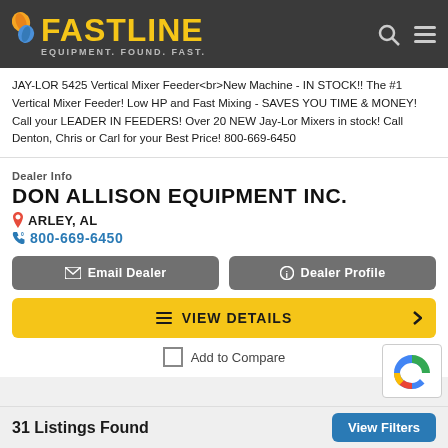[Figure (logo): Fastline logo with leaf icon and tagline EQUIPMENT. FOUND. FAST.]
JAY-LOR 5425 Vertical Mixer Feeder<br>New Machine - IN STOCK!! The #1 Vertical Mixer Feeder! Low HP and Fast Mixing - SAVES YOU TIME & MONEY! Call your LEADER IN FEEDERS! Over 20 NEW Jay-Lor Mixers in stock! Call Denton, Chris or Carl for your Best Price! 800-669-6450
Dealer Info
DON ALLISON EQUIPMENT INC.
ARLEY, AL
800-669-6450
Email Dealer
Dealer Profile
VIEW DETAILS
Add to Compare
31 Listings Found